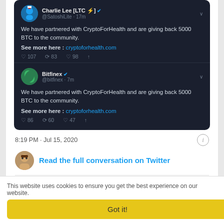[Figure (screenshot): Embedded Twitter/X dark-mode tweet from Charlie Lee [LTC ⚡] @SatoshiLite · 17m: 'We have partnered with CryptoForHealth and are giving back 5000 BTC to the community. See more here: cryptoforhealth.com' with 107 replies, 83 retweets, 98 likes]
[Figure (screenshot): Embedded Twitter/X dark-mode tweet from Bitfinex @bitfinex · 7m: 'We have partnered with CryptoForHealth and are giving back 5000 BTC to the community. See more here: cryptoforhealth.com' with 86 replies, 60 retweets, 47 likes]
8:19 PM · Jul 15, 2020
Read the full conversation on Twitter
1.5K
Reply
Copy link
Read 43 replies
This website uses cookies to ensure you get the best experience on our website.
Got it!